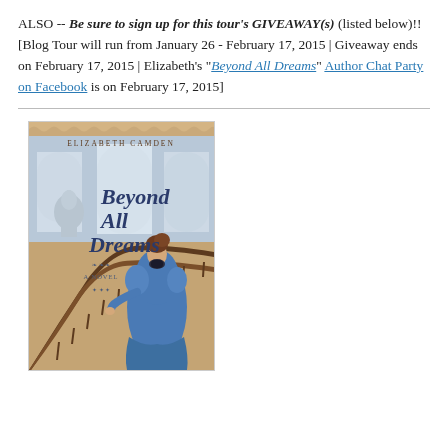ALSO -- Be sure to sign up for this tour's GIVEAWAY(s) (listed below)!! [Blog Tour will run from January 26 - February 17, 2015 | Giveaway ends on February 17, 2015 | Elizabeth's "Beyond All Dreams" Author Chat Party on Facebook is on February 17, 2015]
[Figure (illustration): Book cover of 'Beyond All Dreams' by Elizabeth Camden, showing a woman in a blue Victorian dress standing on a staircase with ornate railings, the US Capitol building visible through arched windows in the background.]